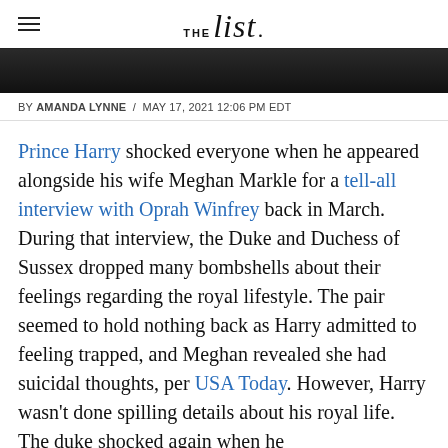THE list
[Figure (photo): Partial photo of person, dark background strip]
BY AMANDA LYNNE / MAY 17, 2021 12:06 PM EDT
Prince Harry shocked everyone when he appeared alongside his wife Meghan Markle for a tell-all interview with Oprah Winfrey back in March. During that interview, the Duke and Duchess of Sussex dropped many bombshells about their feelings regarding the royal lifestyle. The pair seemed to hold nothing back as Harry admitted to feeling trapped, and Meghan revealed she had suicidal thoughts, per USA Today. However, Harry wasn't done spilling details about his royal life. The duke shocked again when he